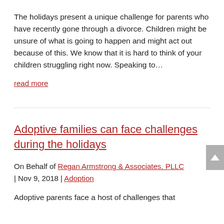The holidays present a unique challenge for parents who have recently gone through a divorce. Children might be unsure of what is going to happen and might act out because of this. We know that it is hard to think of your children struggling right now. Speaking to...
read more
Adoptive families can face challenges during the holidays
On Behalf of Regan Armstrong & Associates, PLLC | Nov 9, 2018 | Adoption
Adoptive parents face a host of challenges that